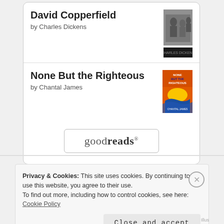David Copperfield
by Charles Dickens
[Figure (illustration): Book cover of David Copperfield – grayscale photo image on top, black bar below]
None But the Righteous
by Chantal James
[Figure (illustration): Book cover of None But the Righteous – orange/colorful cover]
[Figure (logo): goodreads button/logo inside a rounded rectangle]
Privacy & Cookies: This site uses cookies. By continuing to use this website, you agree to their use.
To find out more, including how to control cookies, see here: Cookie Policy
Close and accept